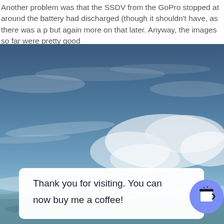Another problem was that the SSDV from the GoPro stopped at around the battery had discharged (though it shouldn't have, as there was a p but again more on that later. Anyway, the images so far were pretty good
[Figure (photo): Aerial photograph taken from high altitude showing a wide sky with wispy clouds and a glimpse of the Earth's surface and scattered clouds below.]
Thank you for visiting. You can now buy me a coffee!